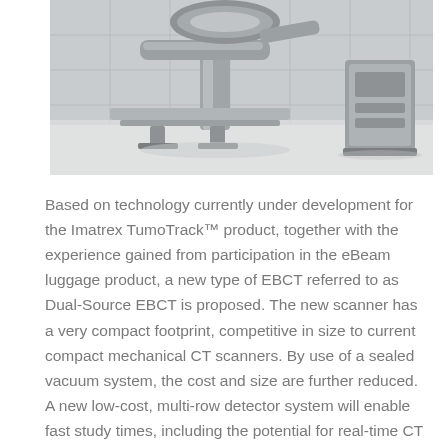[Figure (photo): Medical imaging equipment — a robotic or electron-beam CT scanner arm with a patient table and auxiliary equipment unit in a clinical room setting. The equipment is silver/gray with a modern design, shown in a white-tiled room.]
Based on technology currently under development for the Imatrex TumoTrack™ product, together with the experience gained from participation in the eBeam luggage product, a new type of EBCT referred to as Dual-Source EBCT is proposed. The new scanner has a very compact footprint, competitive in size to current compact mechanical CT scanners. By use of a sealed vacuum system, the cost and size are further reduced. A new low-cost, multi-row detector system will enable fast study times, including the potential for real-time CT imaging.